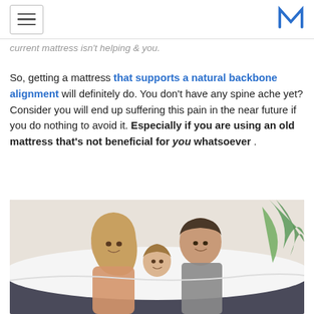[hamburger menu icon] [M logo]
current mattress isn't helping & you.
So, getting a mattress that supports a natural backbone alignment will definitely do. You don't have any spine ache yet? Consider you will end up suffering this pain in the near future if you do nothing to avoid it. Especially if you are using an old mattress that's not beneficial for you whatsoever .
[Figure (photo): A smiling family — woman, man, and young child — lying on a mattress with white bedding, with a green palm plant in the background.]